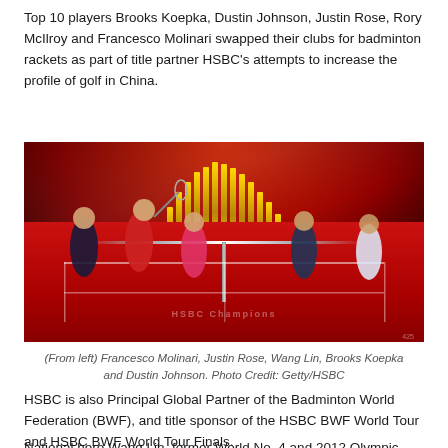Top 10 players Brooks Koepka, Dustin Johnson, Justin Rose, Rory McIlroy and Francesco Molinari swapped their clubs for badminton rackets as part of title partner HSBC's attempts to increase the profile of golf in China.
[Figure (photo): Golf players playing badminton on a red court with HSBC Champions branding, gold bar decorations in background, red-lit building behind. Players visible on both sides of the net.]
(From left) Francesco Molinari, Justin Rose, Wang Lin, Brooks Koepka and Dustin Johnson. Photo Credit: Getty/HSBC
HSBC is also Principal Global Partner of the Badminton World Federation (BWF), and title sponsor of the HSBC BWF World Tour and HSBC BWF World Tour Finals.
National hero Wang Lin, former World No. 4 and 2012 Olympic...